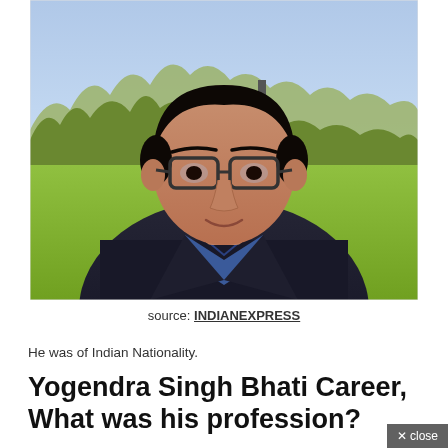[Figure (photo): Portrait photo of a young Indian man wearing glasses and a dark jacket with blue collar shirt, outdoors with green grass and trees in background]
source: INDIANEXPRESS
He was of Indian Nationality.
Yogendra Singh Bhati Career, What was his profession?